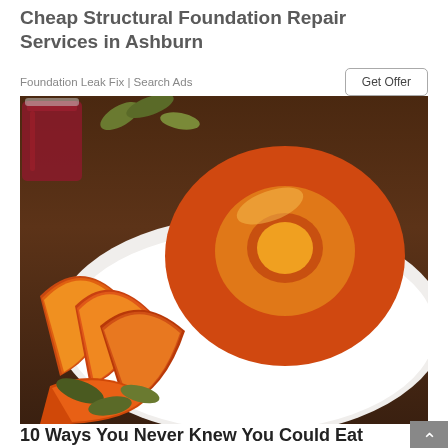Cheap Structural Foundation Repair Services in Ashburn
Foundation Leak Fix | Search Ads
Get Offer
[Figure (photo): Roasted pumpkin/squash slices arranged on a white plate, with a dark red beverage in a mason jar visible in the upper left, on a wooden background.]
10 Ways You Never Knew You Could Eat Avocado